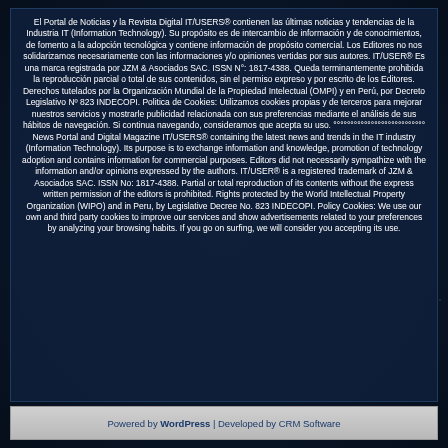El Portal de Noticias y la Revista Digital IT/USERS® contienen las últimas noticias y tendencias de la Industria IT (Information Technology). Su propósito es de intercambio de información y de conocimientos, de fomento a la adopción tecnológica y contiene información de propósito comercial. Los Editores no nos solidarizamos necesariamente con las informaciones y/o opiniones vertidas por sus autores. IT/USER® Es una marca registrada por JZM & Asociados SAC. ISSN N°: 1817-4388. Queda terminantemente prohibida la reproducción parcial o total de sus contenidos, sin el permiso expreso y por escrito de los Editores. Derechos tutelados por la Organización Mundial de la Propiedad Intelectual (OMPI) y en Perú, por Decreto Legislativo Nº 823 INDECOPI. Politica de Cookies: Utilizamos cookies propias y de terceros para mejorar nuestros servicios y mostrarle publicidad relacionada con sus preferencias mediante el análisis de sus hábitos de navegación. Si continua navegando, consideramos que acepta su uso. °°°°°°°°°°°°°°°°°°°°°°°°°°° News Portal and Digital Magazine IT/USERS® containing the latest news and trends in the IT industry (Information Technology). Its purpose is to exchange information and knowledge, promotion of technology adoption and contains information for commercial purposes. Editors did not necessarily sympathize with the information and/or opinions expressed by the authors. IT/USER® is a registered trademark of JZM & Asociados SAC. ISSN No: 1817-4388. Partial or total reproduction of its contents without the express written permission of the editors is prohibited. Rights protected by the World Intellectual Property Organization (WIPO) and in Peru, by Legislative Decree No. 823 INDECOPI. Policy Cookies: We use our own and third party cookies to improve our services and show advertisements related to your preferences by analyzing your browsing habits. If you go on surfing, we will consider you accepting its use.
Powered by WordPress | Developed by CRM Software